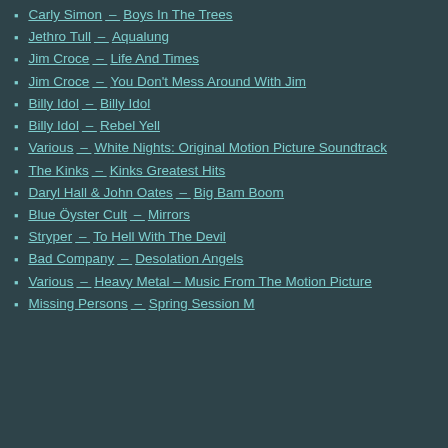Carly Simon – Boys In The Trees
Jethro Tull – Aqualung
Jim Croce – Life And Times
Jim Croce – You Don't Mess Around With Jim
Billy Idol – Billy Idol
Billy Idol – Rebel Yell
Various – White Nights: Original Motion Picture Soundtrack
The Kinks – Kinks Greatest Hits
Daryl Hall & John Oates – Big Bam Boom
Blue Öyster Cult – Mirrors
Stryper – To Hell With The Devil
Bad Company – Desolation Angels
Various – Heavy Metal – Music From The Motion Picture
Missing Persons – Spring Session M